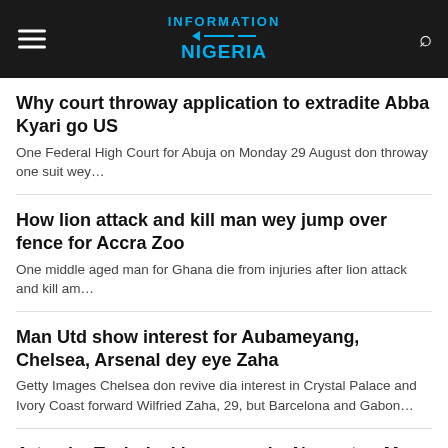Information Nigeria
Why court throway application to extradite Abba Kyari go US
One Federal High Court for Abuja on Monday 29 August don throway one suit wey…
How lion attack and kill man wey jump over fence for Accra Zoo
One middle aged man for Ghana die from injuries after lion attack and kill am…
Man Utd show interest for Aubameyang, Chelsea, Arsenal dey eye Zaha
Getty Images Chelsea don revive dia interest in Crystal Palace and Ivory Coast forward Wilfried Zaha, 29, but Barcelona and Gabon…
Artemis: Technical issues make Nasa stop Moon rocket launch
NASAT-38 planes, a fixture of astronaut training at Nasa, fly over the